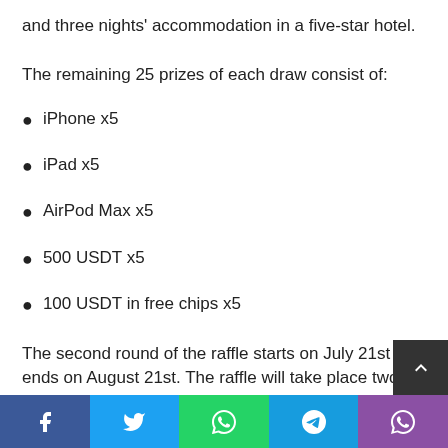and three nights' accommodation in a five-star hotel.
The remaining 25 prizes of each draw consist of:
iPhone x5
iPad x5
AirPod Max x5
500 USDT x5
100 USDT in free chips x5
The second round of the raffle starts on July 21st and ends on August 21st. The raffle will take place two days later, on Aug